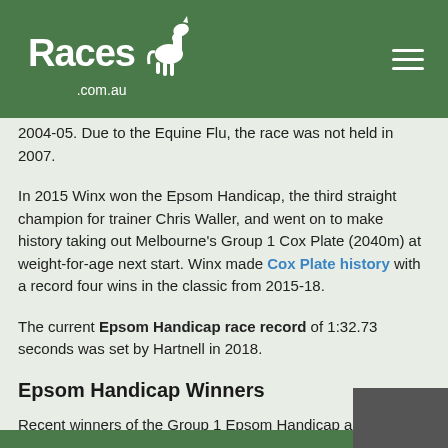Races.com.au
2004-05. Due to the Equine Flu, the race was not held in 2007.
In 2015 Winx won the Epsom Handicap, the third straight champion for trainer Chris Waller, and went on to make history taking out Melbourne's Group 1 Cox Plate (2040m) at weight-for-age next start. Winx made Cox Plate history with a record four wins in the classic from 2015-18.
The current Epsom Handicap race record of 1:32.73 seconds was set by Hartnell in 2018.
Epsom Handicap Winners
Recent winners of the Group 1 Epsom Handicap are detailed below along with the place-getters and winning times.